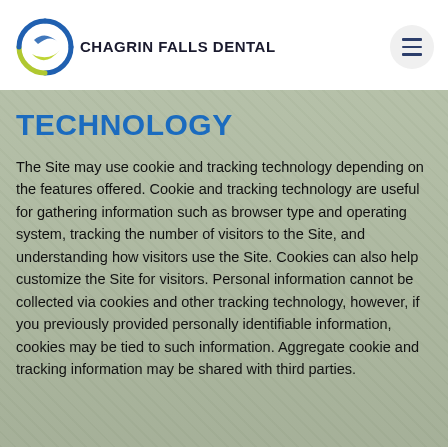Chagrin Falls Dental
TECHNOLOGY
The Site may use cookie and tracking technology depending on the features offered. Cookie and tracking technology are useful for gathering information such as browser type and operating system, tracking the number of visitors to the Site, and understanding how visitors use the Site. Cookies can also help customize the Site for visitors. Personal information cannot be collected via cookies and other tracking technology, however, if you previously provided personally identifiable information, cookies may be tied to such information. Aggregate cookie and tracking information may be shared with third parties.